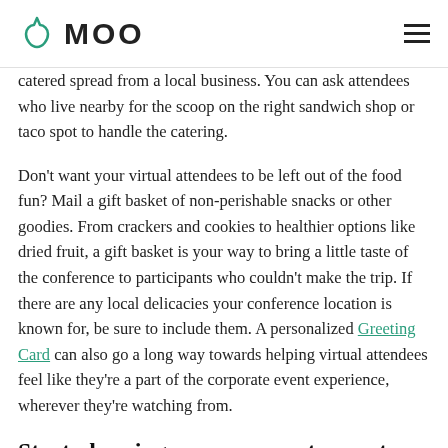MOO
catered spread from a local business. You can ask attendees who live nearby for the scoop on the right sandwich shop or taco spot to handle the catering.
Don't want your virtual attendees to be left out of the food fun? Mail a gift basket of non-perishable snacks or other goodies. From crackers and cookies to healthier options like dried fruit, a gift basket is your way to bring a little taste of the conference to participants who couldn't make the trip. If there are any local delicacies your conference location is known for, be sure to include them. A personalized Greeting Card can also go a long way towards helping virtual attendees feel like they're a part of the corporate event experience, wherever they're watching from.
Start planning your corporate event
It's easy for even the most experienced event organizer to feel overwhelmed when it comes time to plan their first corporate get-together in a post-pandemic world. Just remember that by preparing well in advance and getting all of your necessary